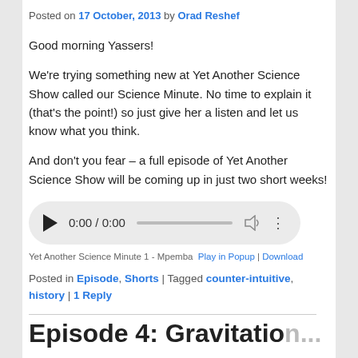Posted on 17 October, 2013 by Orad Reshef
Good morning Yassers!
We're trying something new at Yet Another Science Show called our Science Minute. No time to explain it (that's the point!) so just give her a listen and let us know what you think.
And don't you fear – a full episode of Yet Another Science Show will be coming up in just two short weeks!
[Figure (other): Audio player widget showing 0:00 / 0:00 with play button, progress bar, volume, and more options]
Yet Another Science Minute 1 - Mpemba  Play in Popup | Download
Posted in Episode, Shorts | Tagged counter-intuitive, history | 1 Reply
Episode 4: Gravitation...